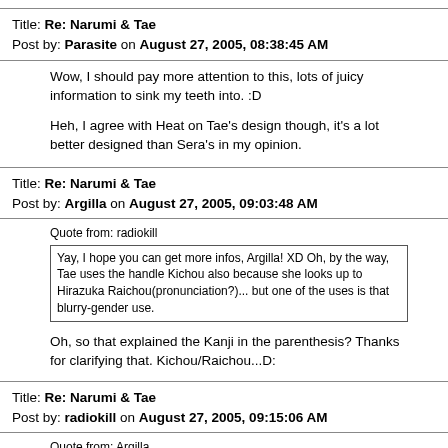Title: Re: Narumi & Tae
Post by: Parasite on August 27, 2005, 08:38:45 AM
Wow, I should pay more attention to this, lots of juicy information to sink my teeth into. :D

Heh, I agree with Heat on Tae's design though, it's a lot better designed than Sera's in my opinion.
Title: Re: Narumi & Tae
Post by: Argilla on August 27, 2005, 09:03:48 AM
Quote from: radiokill
Yay, I hope you can get more infos, Argilla! XD Oh, by the way, Tae uses the handle Kichou also because she looks up to Hirazuka Raichou(pronunciation?)... but one of the uses is that blurry-gender use.

Oh, so that explained the Kanji in the parenthesis? Thanks for clarifying that. Kichou/Raichou...D:
Title: Re: Narumi & Tae
Post by: radiokill on August 27, 2005, 09:15:06 AM
Quote from: Argilla
Oh, so that explained the Kanji in the parenthesis? Thanks for clarifying that. Kichou/Raichou...D: